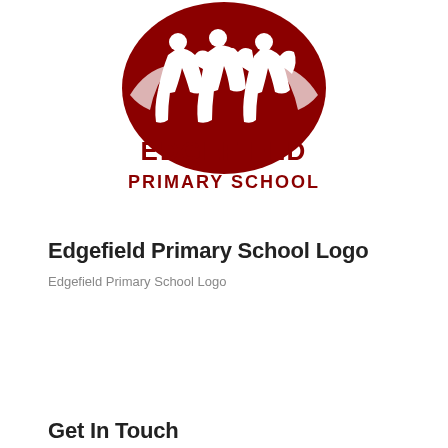[Figure (logo): Edgefield Primary School logo — dark red oval with stylized figures of people, below which the text 'EDGEFIELD PRIMARY SCHOOL' appears in dark red bold lettering]
Edgefield Primary School Logo
Edgefield Primary School Logo
Get In Touch